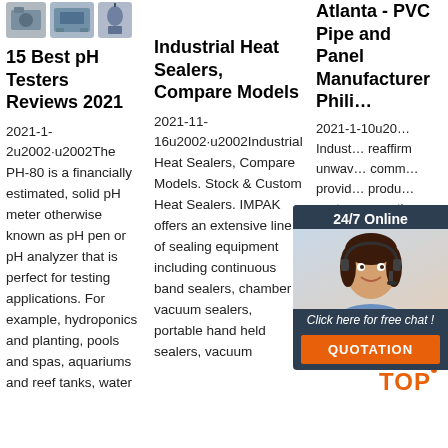[Figure (photo): Row of small product/machine thumbnail images at top left]
15 Best pH Testers Reviews 2021
2021-1-2u2002·u2002The PH-80 is a financially estimated, solid pH meter otherwise known as pH pen or pH analyzer that is perfect for testing applications. For example, hydroponics and planting, pools and spas, aquariums and reef tanks, water
Industrial Heat Sealers, Compare Models
2021-11-16u2002·u2002Industrial Heat Sealers, Compare Models. Stock & Custom Heat Sealers. IMPAK offers an extensive line of sealing equipment including continuous band sealers, chamber vacuum sealers, portable hand held sealers, vacuum
Atlanta - PVC Pipe and Panel Manufacturer Phili…
2021-1-10u20… Industrial reaffirm unwav… comm… provid… produ… customers as the Company successfully passed its re-certificatio audit on ISO 9001:2008,
[Figure (infographic): 24/7 Online chat widget with woman in headset photo, 'Click here for free chat!' text, and orange QUOTATION button]
[Figure (logo): TOP badge logo with orange dots and TOP text]